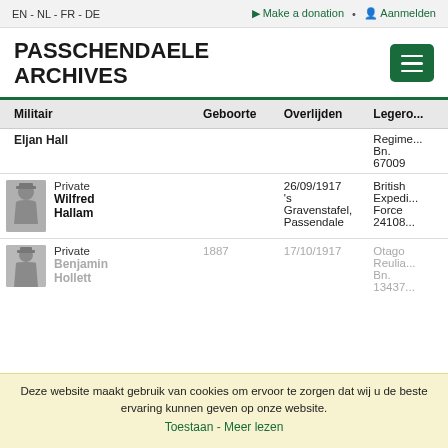EN - NL - FR - DE   Make a donation • Aanmelden
PASSCHENDAELE ARCHIVES
| Militair | Geboorte | Overlijden | Legero... |
| --- | --- | --- | --- |
| Eljan Hall |  |  | Regim... Bn. 67009 |
| Private Wilfred Hallam |  | 26/09/1917 's Gravenstafel, Passendale | British Expedi... Force 24108... |
| Private Benjamin Hollett | 1887 | 17/10/1917 | New Ze... Expedi... Force Otago Reulia... Bn. 13437... |
Deze website maakt gebruik van cookies om ervoor te zorgen dat wij u de beste ervaring kunnen geven op onze website.
Toestaan - Meer lezen